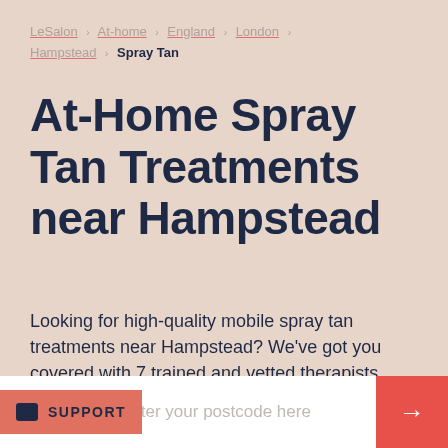LeSalon › At-home › England › London › Hampstead › Spray Tan
At-Home Spray Tan Treatments near Hampstead
Looking for high-quality mobile spray tan treatments near Hampstead? We've got you covered with 7 trained and vetted therapists operating nearby. Instantly book your first LeSalon experience today.
Enter your postcode here